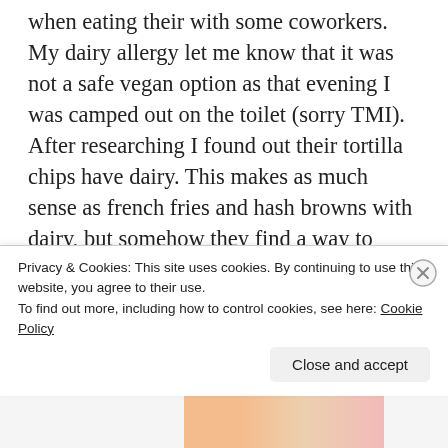when eating their with some coworkers. My dairy allergy let me know that it was not a safe vegan option as that evening I was camped out on the toilet (sorry TMI). After researching I found out their tortilla chips have dairy. This makes as much sense as french fries and hash browns with dairy, but somehow they find a way to mess it up. When I checked their website they say to get guacamole with flour tortillas. For one, who the heck even wants that, and for two I can't due to my wheat allergy. So my go to meal from Chili's is black
Privacy & Cookies: This site uses cookies. By continuing to use this website, you agree to their use.
To find out more, including how to control cookies, see here: Cookie Policy